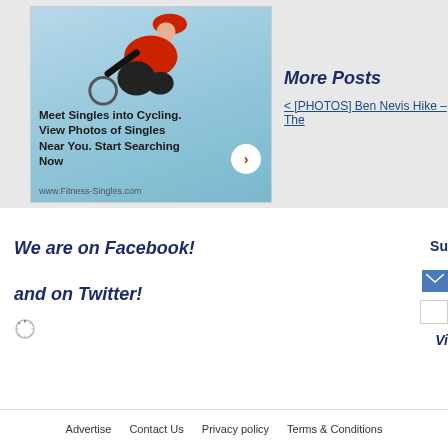[Figure (photo): Advertisement banner for Fitness-Singles.com showing a cyclist in red jacket and helmet. Text reads: Meet Singles into Cycling. View Photos of Singles Near You. Start Searching Now. www.Fitness-Singles.com]
More Posts
< [PHOTOS] Ben Nevis Hike – The
We are on Facebook!
and on Twitter!
Su
Vi
Advertise   Contact Us   Privacy policy   Terms & Conditions